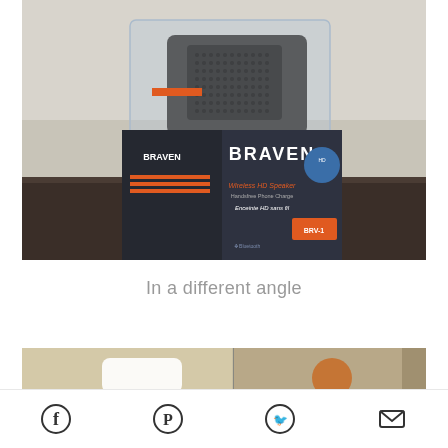[Figure (photo): Braven Wireless HD Speaker in clear plastic display box packaging on a dark table. The box shows the BRAVEN logo and text 'Wireless HD Speaker / Handsfree Phone Charge / Enceinte HD sans fil'. The speaker is gray with orange accents visible inside the transparent package.]
In a different angle
[Figure (photo): Partial view of Braven speaker package contents from a different angle, showing items inside the box.]
Facebook, Pinterest, Twitter, Email share icons